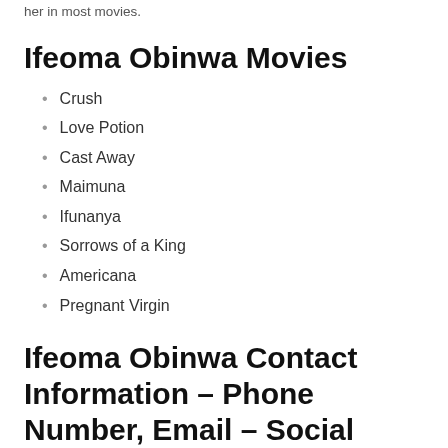her in most movies.
Ifeoma Obinwa Movies
Crush
Love Potion
Cast Away
Maimuna
Ifunanya
Sorrows of a King
Americana
Pregnant Virgin
Ifeoma Obinwa Contact Information – Phone Number, Email – Social Media Accounts – Facebook, Twitter, Instagram, Tiktok...